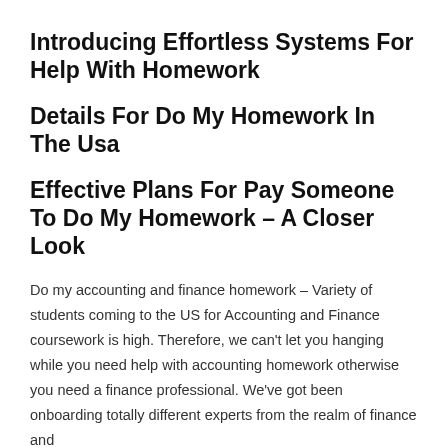Introducing Effortless Systems For Help With Homework
Details For Do My Homework In The Usa
Effective Plans For Pay Someone To Do My Homework – A Closer Look
Do my accounting and finance homework – Variety of students coming to the US for Accounting and Finance coursework is high. Therefore, we can't let you hanging while you need help with accounting homework otherwise you need a finance professional. We've got been onboarding totally different experts from the realm of finance and